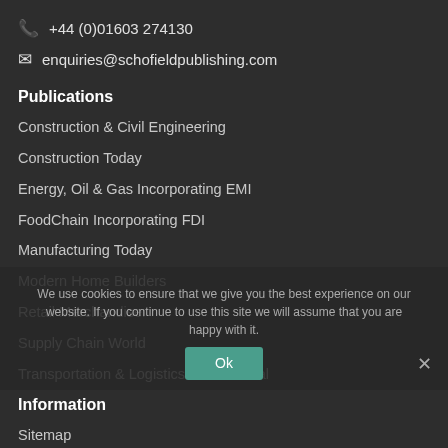+44 (0)01603 274130
enquiries@schofieldpublishing.com
Publications
Construction & Civil Engineering
Construction Today
Energy, Oil & Gas Incorporating EMI
FoodChain Incorporating FDI
Manufacturing Today
Modern Home Builders
Retail Merchandiser
Supply Chain World
Transportation & Logistics International
Information
Sitemap
We use cookies to ensure that we give you the best experience on our website. If you continue to use this site we will assume that you are happy with it.